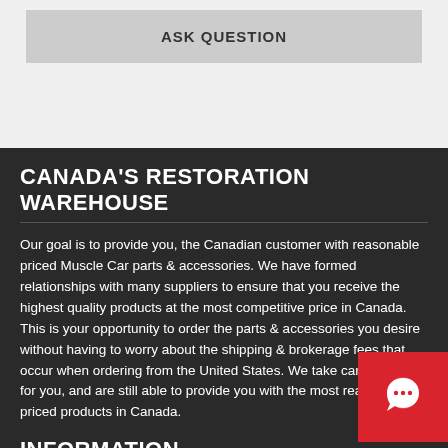ASK QUESTION
CANADA'S RESTORATION WAREHOUSE
Our goal is to provide you, the Canadian customer with reasonable priced Muscle Car parts & accessories. We have formed relationships with many suppliers to ensure that you receive the highest quality products at the most competitive price in Canada. This is your opportunity to order the parts & accessories you desire without having to worry about the shipping & brokerage fees that occur when ordering from the United States. We take care of all that for you, and are still able to provide you with the most reasonably priced products in Canada.
INFORMATION
Resto360
Return Policy
[Figure (illustration): Red speech bubble chat icon button in bottom right corner]